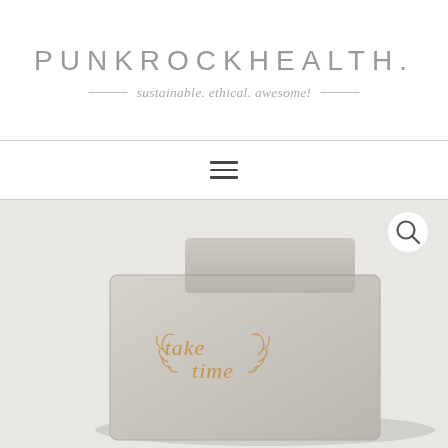PUNKROCKHEALTH. sustainable. ethical. awesome!
[Figure (logo): PunkRockHealth website header with site title in light grey spaced letters and italic tagline 'sustainable. ethical. awesome!' flanked by horizontal lines]
[Figure (photo): Product photo of a grey fabric lunch bag/pouch lying flat with a flap folded over, featuring a golden calligraphic 'take time' text design with leaf/laurel wreath decoration, on a light grey background. A circular white search icon button appears in the top right corner of the image.]